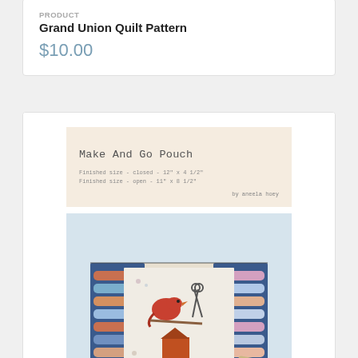PRODUCT
Grand Union Quilt Pattern
$10.00
[Figure (photo): Make And Go Pouch pattern cover (peach background, monospace title text) and product photo showing an open zippered pouch with thread spools and sewing notches]
PRODUCT
Make And Go Pouch by Aneela Hoey
$12.50